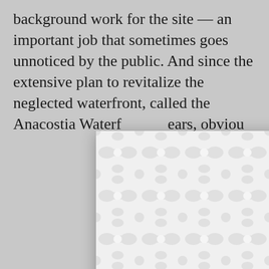background work for the site — an important job that sometimes goes unnoticed by the public. And since the extensive plan to revitalize the neglected waterfront, called the Anacostia Waterfront ... ears, obviou...
[Figure (other): A modal popup overlay with a decorative white/light-gray interlocking circles/peanut-shape repeating pattern, an X close button in the top right, and a dark banner at the bottom showing 'WASHINGTON, DC' in teal text above a green 'REGISTER NOW' button.]